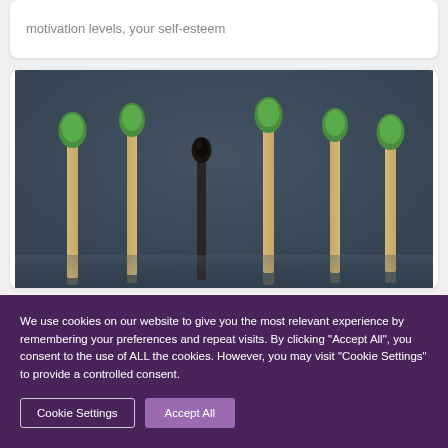motivation levels, your self-esteem
[Figure (photo): Six matchsticks standing upright in a row against a dark blue-gray background. Five matches have green heads (unburned), and one match in the middle has a black burned head, standing out from the rest.]
We use cookies on our website to give you the most relevant experience by remembering your preferences and repeat visits. By clicking "Accept All", you consent to the use of ALL the cookies. However, you may visit "Cookie Settings" to provide a controlled consent.